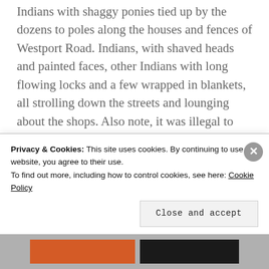Indians with shaggy ponies tied up by the dozens to poles along the houses and fences of Westport Road. Indians, with shaved heads and painted faces, other Indians with long flowing locks and a few wrapped in blankets, all strolling down the streets and lounging about the shops. Also note, it was illegal to sell whiskey to the Indians.
It is my belief that Mrs. Patterson or her sons ran a tavern on the west of
Privacy & Cookies: This site uses cookies. By continuing to use this website, you agree to their use.
To find out more, including how to control cookies, see here: Cookie Policy
Close and accept